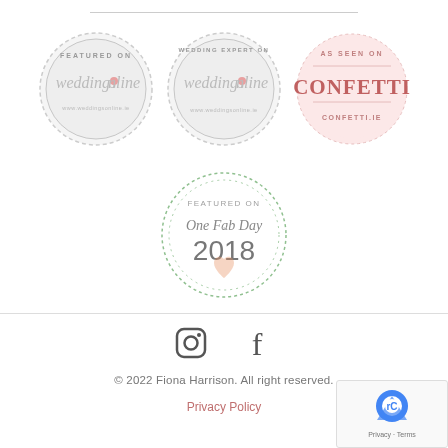[Figure (logo): Featured on weddingsonline badge - circular grey badge with text FEATURED ON weddingsonline www.weddingsonline.ie]
[Figure (logo): Wedding Expert on weddingsonline badge - circular grey badge with text WEDDING EXPERT ON weddingsonline www.weddingsonline.ie]
[Figure (logo): As seen on Confetti badge - circular pink dotted border badge with text AS SEEN ON CONFETTI CONFETTI.IE]
[Figure (logo): Featured on One Fab Day 2018 badge - circular green dotted border badge with FEATURED ON One Fab Day 2018 and heart icon]
[Figure (logo): Social media icons - Instagram and Facebook icons]
© 2022 Fiona Harrison. All right reserved.
Privacy Policy